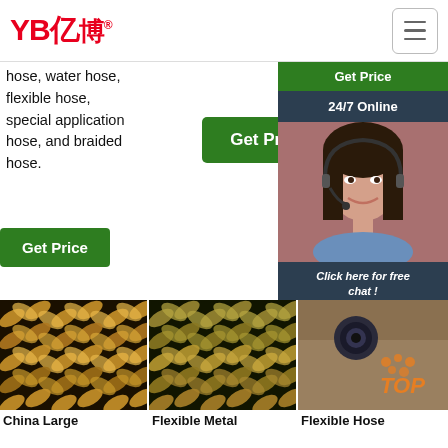[Figure (logo): YB 亿博 logo in red with registered trademark symbol]
[Figure (other): Hamburger menu icon button]
hose, water hose, flexible hose, special application hose, and braided hose.
[Figure (other): Get Price green button (middle)]
[Figure (other): Get Price green button (top right panel)]
[Figure (other): 24/7 Online banner with customer service agent photo, Click here for free chat!, QUOTATION button]
[Figure (other): Get Price green button (left)]
[Figure (photo): Close-up of braided metal/textile hose - product 1]
China Large
[Figure (photo): Close-up of braided metal/textile hose - product 2 (Flexible Metal)]
Flexible Metal
[Figure (photo): Person holding a flexible hose end with TOP badge overlay]
Flexible Hose